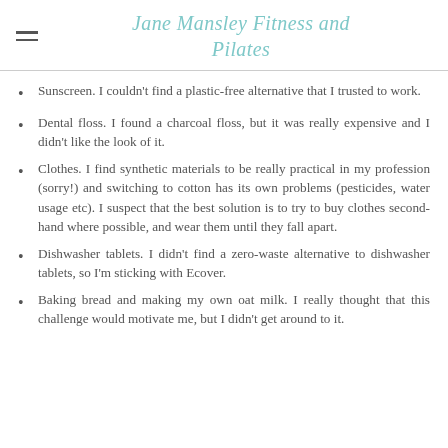Jane Mansley Fitness and Pilates
Sunscreen. I couldn't find a plastic-free alternative that I trusted to work.
Dental floss. I found a charcoal floss, but it was really expensive and I didn't like the look of it.
Clothes. I find synthetic materials to be really practical in my profession (sorry!) and switching to cotton has its own problems (pesticides, water usage etc). I suspect that the best solution is to try to buy clothes second-hand where possible, and wear them until they fall apart.
Dishwasher tablets. I didn't find a zero-waste alternative to dishwasher tablets, so I'm sticking with Ecover.
Baking bread and making my own oat milk. I really thought that this challenge would motivate me, but I didn't get around to it.